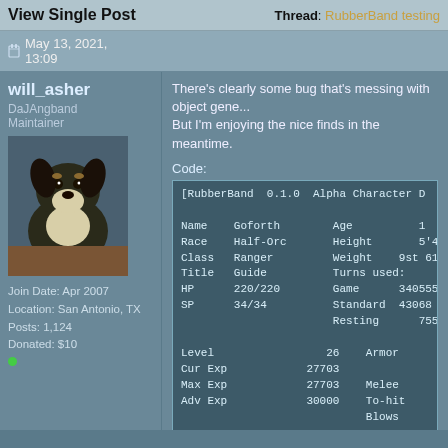View Single Post   Thread: RubberBand testing
May 13, 2021, 13:09
will_asher
DaJAngband Maintainer
[Figure (photo): Avatar photo of a black and tan dog looking at the camera]
Join Date: Apr 2007
Location: San Antonio, TX
Posts: 1,124
Donated: $10
There's clearly some bug that's messing with object gene... But I'm enjoying the nice finds in the meantime.
Code:
[RubberBand  0.1.0  Alpha Character D...

Name    Goforth        Age          1...
Race    Half-Orc       Height       5'4...
Class   Ranger         Weight    9st 61...
Title   Guide          Turns used:
HP      220/220        Game      340555...
SP      34/34          Standard  43068...
                       Resting      755...

Level                 26    Armor
Cur Exp            27703
Max Exp            27703    Melee
Adv Exp            30000    To-hit
                            Blows

Gold               23913
Burden          182.9 lb    Shoot to-...
Overweight       27.0 lb    To-hit
Max Depth     1250' (L25)   Shots

Your father was an Orc, but it is una...
child of a landed Knight.  You...